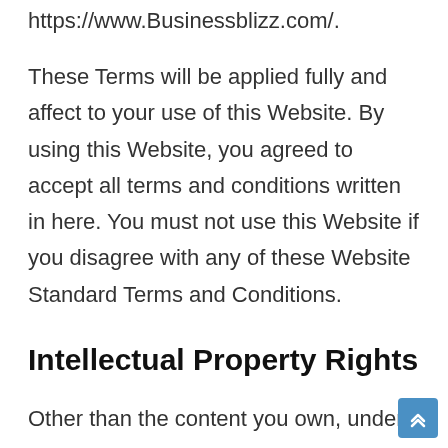https://www.Businessblizz.com/.
These Terms will be applied fully and affect to your use of this Website. By using this Website, you agreed to accept all terms and conditions written in here. You must not use this Website if you disagree with any of these Website Standard Terms and Conditions.
Intellectual Property Rights
Other than the content you own, under